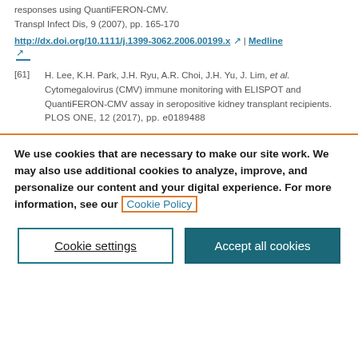responses using QuantiFERON-CMV.
Transpl Infect Dis, 9 (2007), pp. 165-170
http://dx.doi.org/10.1111/j.1399-3062.2006.00199.x | Medline
[61] H. Lee, K.H. Park, J.H. Ryu, A.R. Choi, J.H. Yu, J. Lim, et al. Cytomegalovirus (CMV) immune monitoring with ELISPOT and QuantiFERON-CMV assay in seropositive kidney transplant recipients. PLOS ONE, 12 (2017), pp. e0189488
We use cookies that are necessary to make our site work. We may also use additional cookies to analyze, improve, and personalize our content and your digital experience. For more information, see our Cookie Policy
Cookie settings
Accept all cookies